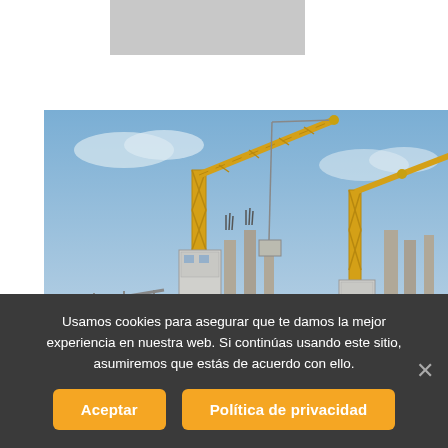[Figure (other): Grey placeholder image/banner at top of page]
[Figure (photo): Construction site photograph showing two large yellow lattice tower cranes against a blue sky, with concrete pillars and rebar visible in the background]
Usamos cookies para asegurar que te damos la mejor experiencia en nuestra web. Si continúas usando este sitio, asumiremos que estás de acuerdo con ello.
Aceptar
Política de privacidad